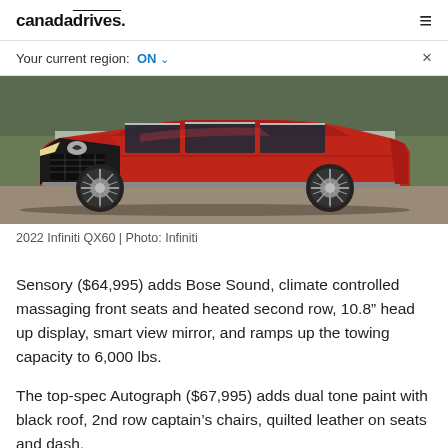canadadrives.
Your current region:  ON ∨
[Figure (photo): Front three-quarter view of a red 2022 Infiniti QX60 SUV parked on a gravel surface with grass in the background]
2022 Infiniti QX60 | Photo: Infiniti
Sensory ($64,995) adds Bose Sound, climate controlled massaging front seats and heated second row, 10.8" head up display, smart view mirror, and ramps up the towing capacity to 6,000 lbs.
The top-spec Autograph ($67,995) adds dual tone paint with black roof, 2nd row captain's chairs, quilted leather on seats and dash.